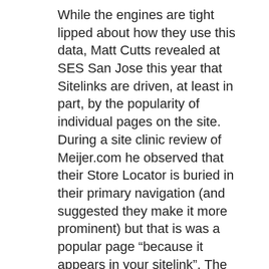While the engines are tight lipped about how they use this data, Matt Cutts revealed at SES San Jose this year that Sitelinks are driven, at least in part, by the popularity of individual pages on the site. During a site clinic review of Meijer.com he observed that their Store Locator is buried in their primary navigation (and suggested they make it more prominent) but that is was a popular page “because it appears in your sitelink”. The Meijer Store locator page is also the second listing below the sitelink despite being buried in the global navigation and completely lacking content on the page. User behavior data explains how a boilerplate ONLY page with a few graphics is the second highest ranked page on the site.
I will not take issue with Rands observation that